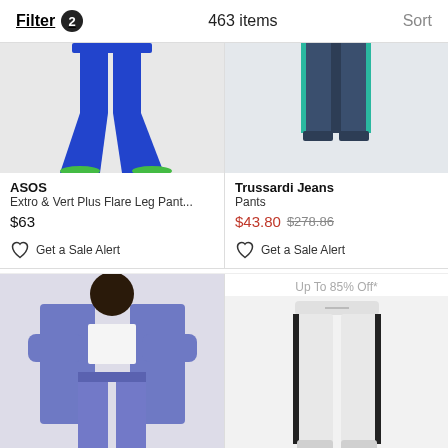Filter 2   463 items   Sort
[Figure (photo): Blue flare leg pants product photo, partial view showing legs and flared bottoms]
ASOS
Extro & Vert Plus Flare Leg Pant...
$63
Get a Sale Alert
[Figure (photo): Navy/teal colorblock track pants product photo, partial view showing legs]
Trussardi Jeans
Pants
$43.80 $278.86
Get a Sale Alert
Up To 85% Off*
[Figure (photo): Purple/periwinkle wide leg suit trousers with matching blazer, model wearing white crop top]
ASOS
[Figure (photo): White jogger pants with black side stripe detail, product photo on white background]